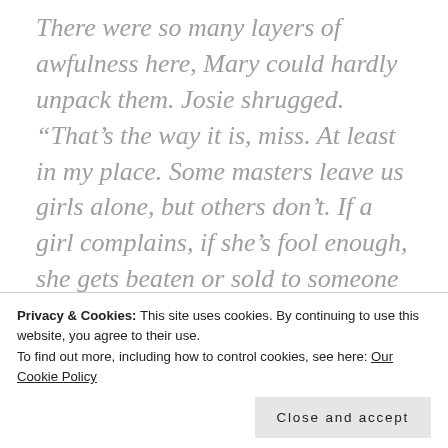There were so many layers of awfulness here, Mary could hardly unpack them. Josie shrugged. “That’s the way it is, miss. At least in my place. Some masters leave us girls alone, but others don’t. If a girl complains, if she’s fool enough, she gets beaten or sold to someone even worse. Or both.”
Mary tried to imagine what “even worse”
Privacy & Cookies: This site uses cookies. By continuing to use this website, you agree to their use.
To find out more, including how to control cookies, see here: Our Cookie Policy
Close and accept
as often as she could without being too